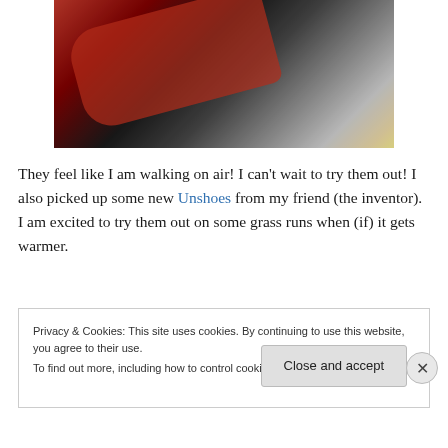[Figure (photo): Photo of red New Balance sneakers with white laces, partially out of a box, with yellow packaging material visible in the background.]
They feel like I am walking on air! I can't wait to try them out! I also picked up some new Unshoes from my friend (the inventor). I am excited to try them out on some grass runs when (if) it gets warmer.
[Figure (photo): Partial view of a second photo, appears to show food or outdoor scene, mostly obscured by cookie banner.]
Privacy & Cookies: This site uses cookies. By continuing to use this website, you agree to their use.
To find out more, including how to control cookies, see here: Cookie Policy